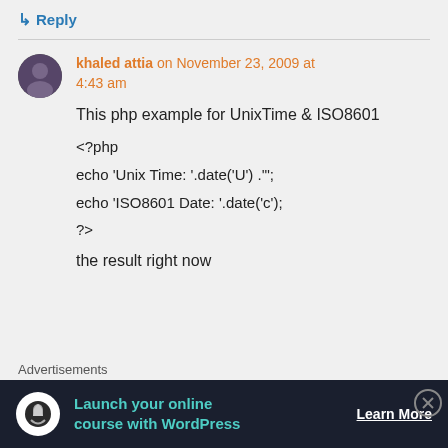↳ Reply
khaled attia on November 23, 2009 at 4:43 am
This php example for UnixTime & ISO8601
<?php
echo 'Unix Time: '.date('U') .'";
echo 'ISO8601 Date: '.date('c');
?>

the result right now
Advertisements
[Figure (infographic): Advertisement banner: Launch your online course with WordPress - Learn More]